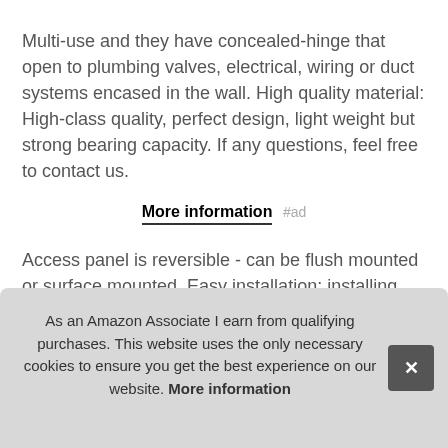Multi-use and they have concealed-hinge that open to plumbing valves, electrical, wiring or duct systems encased in the wall. High quality material: High-class quality, perfect design, light weight but strong bearing capacity. If any questions, feel free to contact us.
More information #ad
Access panel is reversible - can be flush mounted or surface mounted. Easy installation: installing drywall access panels is a quick, convenient DIY job, easy to handle. Self-contained access panel, requires no framing, screws, latches or fast... devi... syst... mor...
As an Amazon Associate I earn from qualifying purchases. This website uses the only necessary cookies to ensure you get the best experience on our website. More information